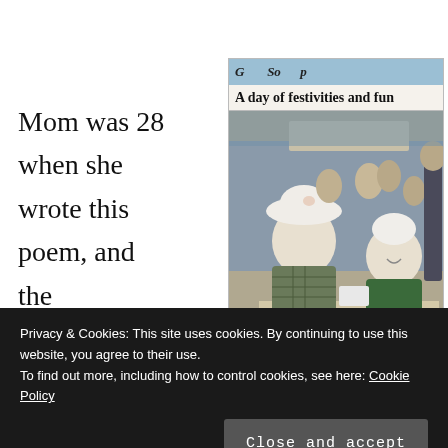Mom was 28 when she wrote this poem, and the
[Figure (photo): Newspaper clipping showing a photo captioned 'A day of festivities and fun'. The photo shows people at an outdoor festival. Caption reads: Genger Evenrwere, right, a resident of Hillsborough County Nursing Home in Goffstown, tosses a "water melon" toward the basket on physical therapist Jeanine Bleau and to win a prize. The contest was part of an end of the summer festival for the residents last week.]
Privacy & Cookies: This site uses cookies. By continuing to use this website, you agree to their use.
To find out more, including how to control cookies, see here: Cookie Policy
Close and accept
it is the fact that it's free verse; Mom has always been a